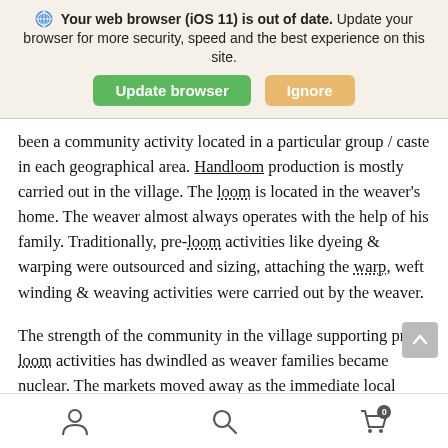[Figure (screenshot): Browser update notification banner with globe/browser icon, bold text reading 'Your web browser (iOS 11) is out of date.' followed by 'Update your browser for more security, speed and the best experience on this site.' with two buttons: green 'Update browser' and orange 'Ignore'.]
been a community activity located in a particular group / caste in each geographical area. Handloom production is mostly carried out in the village. The loom is located in the weaver's home. The weaver almost always operates with the help of his family. Traditionally, pre-loom activities like dyeing & warping were outsourced and sizing, attaching the warp, weft winding & weaving activities were carried out by the weaver.
The strength of the community in the village supporting pre-loom activities has dwindled as weaver families became nuclear. The markets moved away as the immediate local markets became weak. The reduction of growth in the local
[Figure (screenshot): Bottom navigation bar with three icons: person/user icon on left, search/magnifying glass in center, shopping cart with badge '0' on right.]